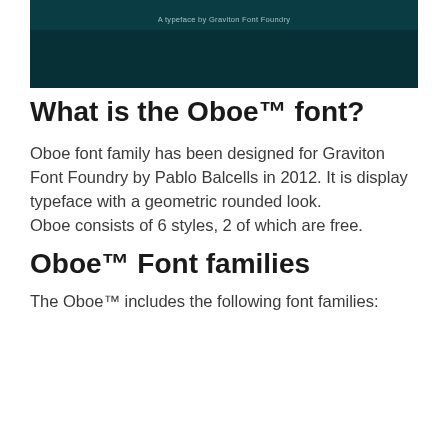[Figure (illustration): Dark teal/green header banner with text 'A typeface by Graviton Font Foundry' centered at top]
What is the Oboe™ font?
Oboe font family has been designed for Graviton Font Foundry by Pablo Balcells in 2012. It is display typeface with a geometric rounded look.
Oboe consists of 6 styles, 2 of which are free.
Oboe™ Font families
The Oboe™ includes the following font families: